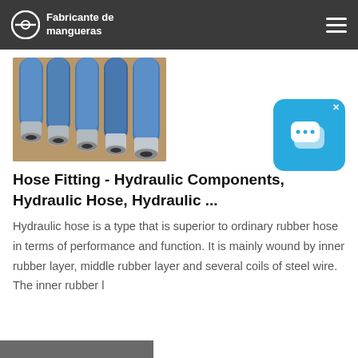Fabricante de mangueras
[Figure (photo): Several blue hydraulic hoses with silver metal fittings on their ends, laid on a surface]
[Figure (illustration): Blue chat/messaging app icon widget with two speech bubbles, with an X close button in top right corner]
Hose Fitting - Hydraulic Components, Hydraulic Hose, Hydraulic ...
Hydraulic hose is a type that is superior to ordinary rubber hose in terms of performance and function. It is mainly wound by inner rubber layer, middle rubber layer and several coils of steel wire. The inner rubber l
[Figure (photo): Partial view of another hose product photo at the bottom of the page]